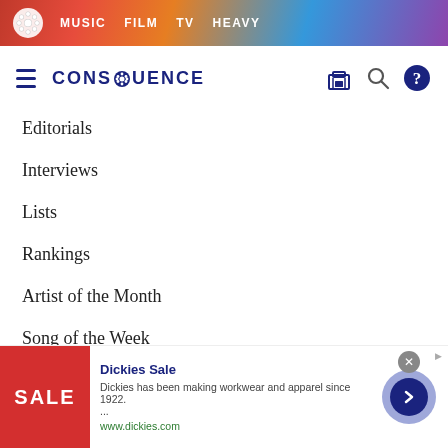MUSIC  FILM  TV  HEAVY
[Figure (logo): Consequence of Sound logo with hamburger menu and icons]
Editorials
Interviews
Lists
Rankings
Artist of the Month
Song of the Week
Live
Concert Tickets
[Figure (screenshot): Dickies Sale advertisement banner with red sale image, title, description and arrow button]